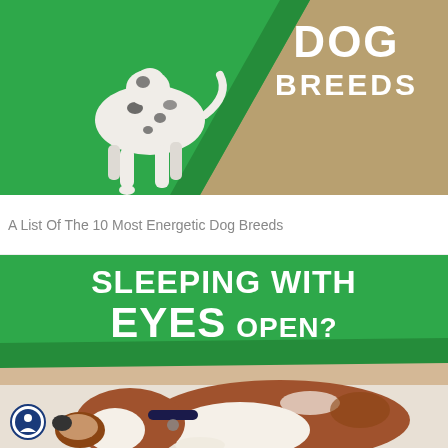[Figure (photo): Dalmatian dog running on green and brown surface with text overlay reading DOG BREEDS in white bold letters on green diagonal band]
A List Of The 10 Most Energetic Dog Breeds
[Figure (photo): Basset hound or beagle dog sleeping on a surface with text overlay reading SLEEPING WITH EYES OPEN? in white bold letters on green diagonal band. Small accessibility badge icon in bottom left.]